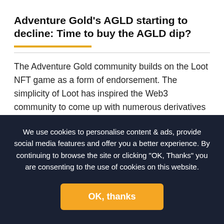Adventure Gold's AGLD starting to decline: Time to buy the AGLD dip?
The Adventure Gold community builds on the Loot NFT game as a form of endorsement. The simplicity of Loot has inspired the Web3 community to come up with numerous derivatives projects based on its code.
Adventure Gold aims to be used as a governance token and have users vote on future in-game credits or future mints building on top of Loot and adopting AGLD.
A multisig group can execute contractual permissions, such as minting decisions and other governance proposals.
We use cookies to personalise content & ads, provide social media features and offer you a better experience. By continuing to browse the site or clicking "OK, Thanks" you are consenting to the use of cookies on this website.